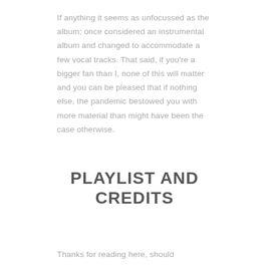If anything it seems as unfocussed as the album; once considered an instrumental album and changed to accommodate a few vocal tracks. That said, if you're a bigger fan than I, none of this will matter and you can be pleased that if nothing else, the pandemic bestowed you with more material than might have been the case otherwise.
PLAYLIST AND CREDITS
Thanks for reading here, should